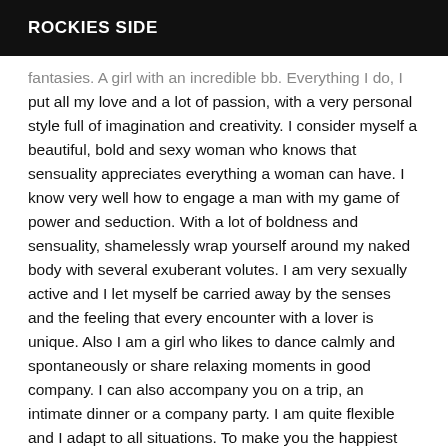ROCKIES SIDE
fantasies. A girl with an incredible bb. Everything I do, I put all my love and a lot of passion, with a very personal style full of imagination and creativity. I consider myself a beautiful, bold and sexy woman who knows that sensuality appreciates everything a woman can have. I know very well how to engage a man with my game of power and seduction. With a lot of boldness and sensuality, shamelessly wrap yourself around my naked body with several exuberant volutes. I am very sexually active and I let myself be carried away by the senses and the feeling that every encounter with a lover is unique. Also I am a girl who likes to dance calmly and spontaneously or share relaxing moments in good company. I can also accompany you on a trip, an intimate dinner or a company party. I am quite flexible and I adapt to all situations. To make you the happiest man! Maybe I am the definition of both sides of the spectrum, from hot to cold, pleasant to naughty. I am